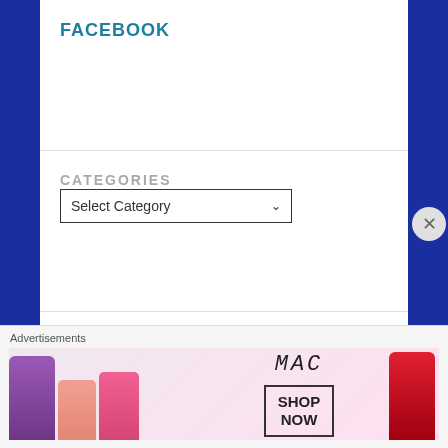FACEBOOK
CATEGORIES
[Figure (screenshot): Select Category dropdown box with down arrow]
Advertisements
[Figure (other): Blue gradient advertisement bar]
Advertisements
[Figure (other): MAC cosmetics advertisement showing colorful lipsticks with MAC logo and SHOP NOW button]